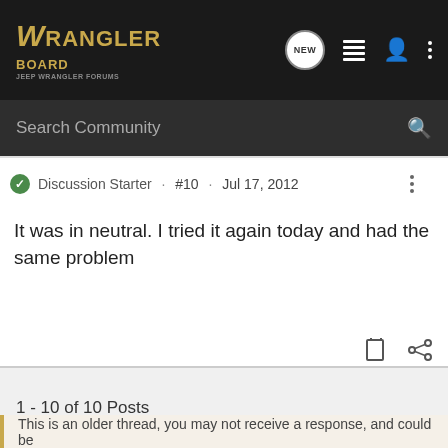[Figure (screenshot): Wrangler Board logo in gold on dark background navigation bar with icons: NEW chat bubble, list icon, user icon, three-dot menu]
Search Community
Discussion Starter · #10 · Jul 17, 2012
It was in neutral. I tried it again today and had the same problem
1 - 10 of 10 Posts
This is an older thread, you may not receive a response, and could be